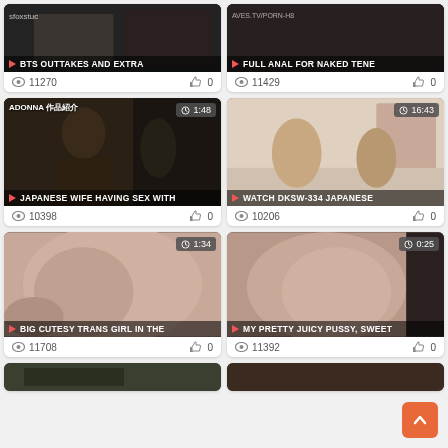[Figure (screenshot): Video thumbnail - BTS OUTTAKES AND EXTRA, 11270 views, 0 likes]
[Figure (screenshot): Video thumbnail - FULL ANAL FOR NAKED TENE, 11429 views, 0 likes]
[Figure (screenshot): Video thumbnail - JAPANESE WIFE HAVING SEX WITH, 1:48 duration, 10398 views, 0 likes]
[Figure (screenshot): Video thumbnail - WATCH DKSW-334 JAPANESE, 16:43 duration, 10206 views, 0 likes]
[Figure (screenshot): Video thumbnail - BIG CUTESY TRANS GIRL IN THE, 1:34 duration, 11708 views, 0 likes]
[Figure (screenshot): Video thumbnail - MY PRETTY JUICY PUSSY, SWEET, 0:25 duration, 11392 views, 0 likes]
[Figure (screenshot): Partial video thumbnails at bottom (cropped)]